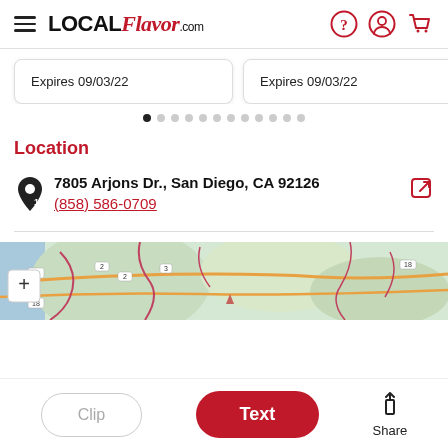LOCAL Flavor .com
Expires 09/03/22
Expires 09/03/22
Ex
Location
7805 Arjons Dr., San Diego, CA 92126
(858) 586-0709